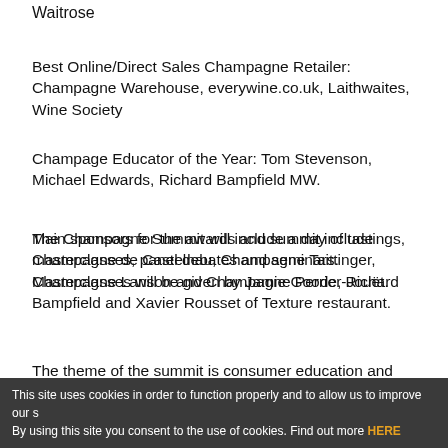Waitrose
Best Online/Direct Sales Champagne Retailer: Champagne Warehouse, everywine.co.uk, Laithwaites, Wine Society
Champage Educator of the Year: Tom Stevenson, Michael Edwards, Richard Bampfield MW.
Main sponsors for the awards and summit include Champagne de Castelnau, Champagne Taittinger, Champagne Lanson and Champagne Perrier-Jouët.
The Champagne Summit will include a day of tastings, masterclasses, panel debates and seminars. Masterclasses will be given by Jamie Goode, Richard Bampfield and Xavier Rousset of Texture restaurant.
The theme of the summit is consumer education and
This site uses cookies in order to function properly and to allow us to improve our s By using this site you consent to the use of cookies. Find out more HERE